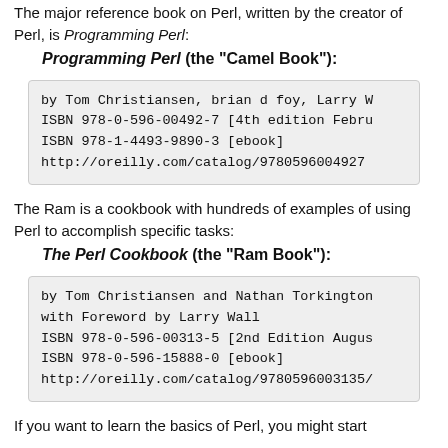The major reference book on Perl, written by the creator of Perl, is Programming Perl:
Programming Perl (the "Camel Book"):
by Tom Christiansen, brian d foy, Larry W
ISBN 978-0-596-00492-7 [4th edition Febru
ISBN 978-1-4493-9890-3 [ebook]
http://oreilly.com/catalog/9780596004927
The Ram is a cookbook with hundreds of examples of using Perl to accomplish specific tasks:
The Perl Cookbook (the "Ram Book"):
by Tom Christiansen and Nathan Torkington
with Foreword by Larry Wall
ISBN 978-0-596-00313-5 [2nd Edition Augus
ISBN 978-0-596-15888-0 [ebook]
http://oreilly.com/catalog/9780596003135/
If you want to learn the basics of Perl, you might start